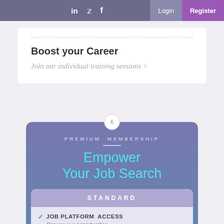in  Twitter  f  Login  Register
Boost your Career
Join our individual training sessions >
PREMIUM MEMBERSHIP
Empower Your Job Search
STANDARD
JOB PLATFORM ACCESS — Browse our opportunities
ACCOUNT MANAGEMENT — Stay connected with your personal information
ONLINE APPLICATION